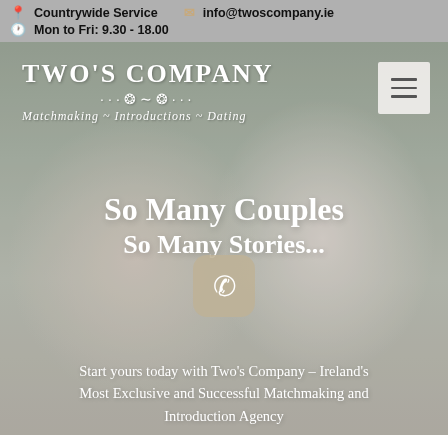Countrywide Service   info@twoscompany.ie   Mon to Fri: 9.30 - 18.00
[Figure (screenshot): Website screenshot of Two's Company matchmaking agency homepage. Background shows a smiling couple (man and woman). Logo reads 'TWO'S COMPANY — Matchmaking ~ Introductions ~ Dating'. Hamburger menu button in top right corner.]
So Many Couples
So Many Stories...
Start yours today with Two's Company – Ireland's Most Exclusive and Successful Matchmaking and Introduction Agency